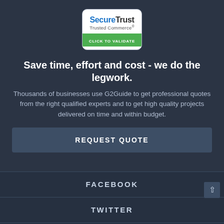[Figure (logo): SecureTrust Trusted Commerce badge with blue and black text on white background and green 'CLICK TO VALIDATE' bar]
Save time, effort and cost - we do the legwork.
Thousands of businesses use G2Guide to get professional quotes from the right qualified experts and to get high quality projects delivered on time and within budget.
REQUEST QUOTE
FACEBOOK
TWITTER
GOOGLE+
LINKEDIN